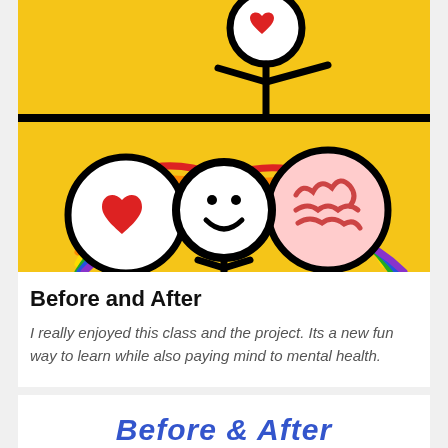[Figure (illustration): Child's drawing of a stick figure person with a smiley face, surrounded by rainbow arcs, a red heart on the left side in a circle, and a pink brain illustration on the right side in a circle, all on a yellow background. A taller stick figure stands above.]
Before and After
I really enjoyed this class and the project. Its a new fun way to learn while also paying mind to mental health.
[Figure (illustration): Partial view of another drawing at the bottom of the page, showing blue handwritten text partially visible.]